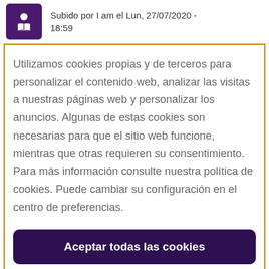Subido por I am el Lun, 27/07/2020 - 18:59
Utilizamos cookies propias y de terceros para personalizar el contenido web, analizar las visitas a nuestras páginas web y personalizar los anuncios. Algunas de estas cookies son necesarias para que el sitio web funcione, mientras que otras requieren su consentimiento. Para más información consulte nuestra política de cookies. Puede cambiar su configuración en el centro de preferencias.
Aceptar todas las cookies
Configuración de cookies